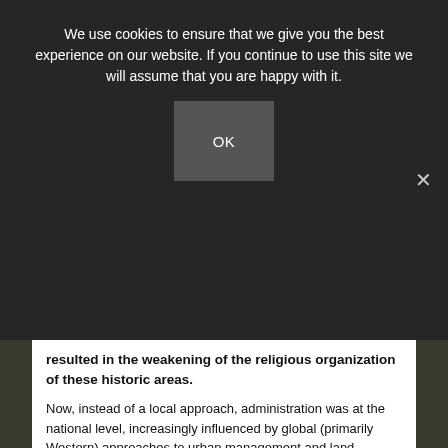We use cookies to ensure that we give you the best experience on our website. If you continue to use this site we will assume that you are happy with it.
OK
resulted in the weakening of the religious organization of these historic areas.
Now, instead of a local approach, administration was at the national level, increasingly influenced by global (primarily Western) approaches to urban management and land planning. Opportunities for local input in the shaping of the urban environment were almost non-existent
Change was not just physical. The social fabric of the city was also transformed. Three important groups were particularly impacted by the changes which were occurring — merchants/bazaaris, landlords, and clergy